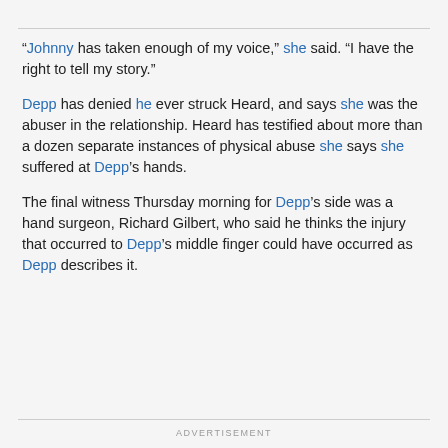“Johnny has taken enough of my voice,” she said. “I have the right to tell my story.”
Depp has denied he ever struck Heard, and says she was the abuser in the relationship. Heard has testified about more than a dozen separate instances of physical abuse she says she suffered at Depp’s hands.
The final witness Thursday morning for Depp’s side was a hand surgeon, Richard Gilbert, who said he thinks the injury that occurred to Depp’s middle finger could have occurred as Depp describes it.
ADVERTISEMENT